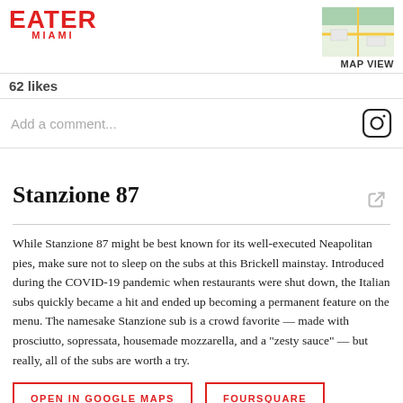EATER MIAMI
62 likes
Add a comment...
Stanzione 87
While Stanzione 87 might be best known for its well-executed Neapolitan pies, make sure not to sleep on the subs at this Brickell mainstay. Introduced during the COVID-19 pandemic when restaurants were shut down, the Italian subs quickly became a hit and ended up becoming a permanent feature on the menu. The namesake Stanzione sub is a crowd favorite — made with prosciutto, sopressata, housemade mozzarella, and a "zesty sauce" — but really, all of the subs are worth a try.
OPEN IN GOOGLE MAPS
FOURSQUARE
87 SW 8th St, Miami, FL 33130